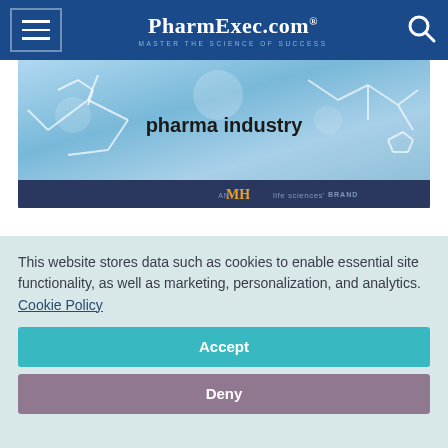PharmExec.com — MASTER THE SCIENCE OF SUCCESS
[Figure (screenshot): PharmExec.com website banner showing 'pharma industry' text over a molecular/chemical background image, with MH life sciences brand logo bar at the bottom]
[Figure (photo): Partial view of a person with brown hair, visible from shoulders up, cropped by cookie consent overlay]
This website stores data such as cookies to enable essential site functionality, as well as marketing, personalization, and analytics. Cookie Policy
Accept
Deny